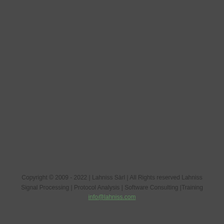Copyright © 2009 - 2022 | Lahniss Sàrl | All Rights reserved Lahniss Signal Processing | Protocol Analysis | Software Consulting |Training info@lahniss.com